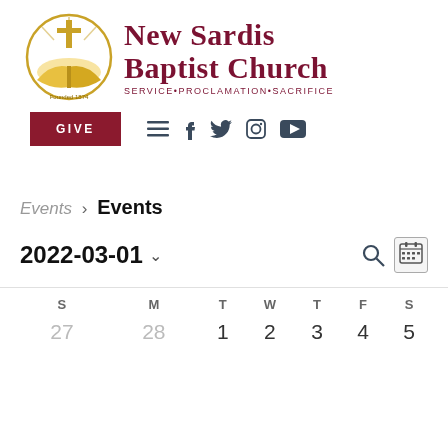[Figure (logo): New Sardis Baptist Church logo with cross and open Bible, gold circle, Founded 1874]
New Sardis Baptist Church
SERVICE•PROCLAMATION•SACRIFICE
[Figure (screenshot): Navigation bar with GIVE button, hamburger menu, Facebook, Twitter, Instagram, YouTube icons]
Events > Events
2022-03-01 ˅
| S | M | T | W | T | F | S |
| --- | --- | --- | --- | --- | --- | --- |
| 27 | 28 | 1 | 2 | 3 | 4 | 5 |